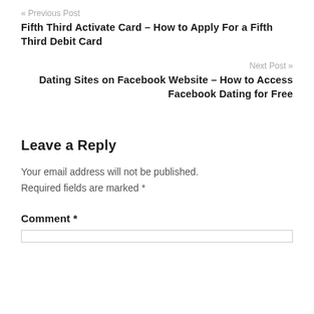« Previous Post
Fifth Third Activate Card – How to Apply For a Fifth Third Debit Card
Next Post »
Dating Sites on Facebook Website – How to Access Facebook Dating for Free
Leave a Reply
Your email address will not be published.
Required fields are marked *
Comment *